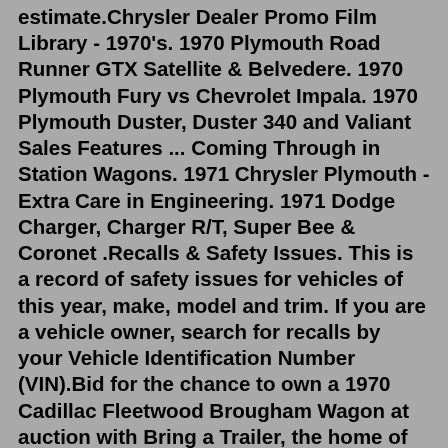estimate.Chrysler Dealer Promo Film Library - 1970's. 1970 Plymouth Road Runner GTX Satellite & Belvedere. 1970 Plymouth Fury vs Chevrolet Impala. 1970 Plymouth Duster, Duster 340 and Valiant Sales Features ... Coming Through in Station Wagons. 1971 Chrysler Plymouth - Extra Care in Engineering. 1971 Dodge Charger, Charger R/T, Super Bee & Coronet .Recalls & Safety Issues. This is a record of safety issues for vehicles of this year, make, model and trim. If you are a vehicle owner, search for recalls by your Vehicle Identification Number (VIN).Bid for the chance to own a 1970 Cadillac Fleetwood Brougham Wagon at auction with Bring a Trailer, the home of the best vintage and classic cars online. Lot #41,468. 1970 Chevrolet Chevelle Nomad station Wagon, SS Clone restored. 350 350. Ps, pb, air heat. Kenwood Stereo with Blaupunkt 6 disc remoter CD... $17,240. 15,000 Miles. Year 1971. Report. View car. 2. C. ClassicCars 30+ days ago. 1970 Chevrolet Malibu Wagon 97624, OR . 1970 Chevrolet Chevelle Malibu Concours Station Wagon. All original California...